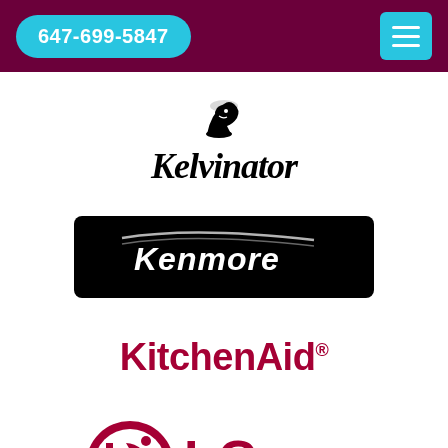647-699-5847
[Figure (logo): Kelvinator brand logo with stylized chess knight icon above italic serif text reading 'Kelvinator']
[Figure (logo): Kenmore brand logo: white italic 'Kenmore' text on black rounded rectangle with swoosh design]
[Figure (logo): KitchenAid brand logo in dark red/maroon bold sans-serif text with registered trademark symbol]
[Figure (logo): LG brand logo partially visible at bottom: pink/red circular LG symbol and 'LG' text]